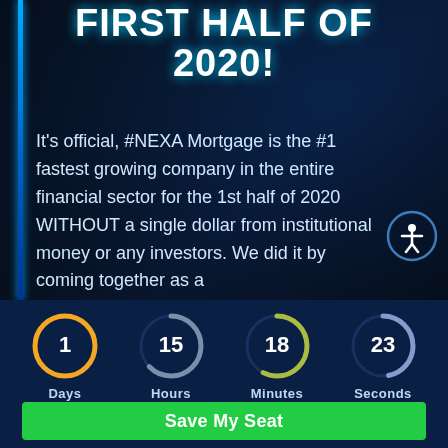FIRST HALF OF 2020!
It's official, #NEXA Mortgage is the #1 fastest growing company in the entire financial sector for the 1st half of 2020 WITHOUT a single dollar from institutional money or any investors. We did it by coming together as a
[Figure (infographic): Countdown timer showing 1 Days, 15 Hours, 18 Minutes, 23 Seconds with circular progress rings]
Save My Seat